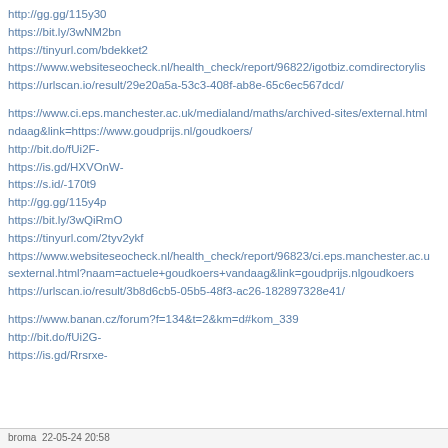http://gg.gg/115y30
https://bit.ly/3wNM2bn
https://tinyurl.com/bdekket2
https://www.websiteseocheck.nl/health_check/report/96822/igotbiz.comdirectorylis…
https://urlscan.io/result/29e20a5a-53c3-408f-ab8e-65c6ec567dcd/
https://www.ci.eps.manchester.ac.uk/medialand/maths/archived-sites/external.html…ndaag&link=https://www.goudprijs.nl/goudkoers/
http://bit.do/fUi2F-
https://is.gd/HXVOnW-
https://s.id/-170t9
http://gg.gg/115y4p
https://bit.ly/3wQiRmO
https://tinyurl.com/2tyv2ykf
https://www.websiteseocheck.nl/health_check/report/96823/ci.eps.manchester.ac.u…sexternal.html?naam=actuele+goudkoers+vandaag&link=goudprijs.nlgoudkoers
https://urlscan.io/result/3b8d6cb5-05b5-48f3-ac26-182897328e41/
https://www.banan.cz/forum?f=134&t=2&km=d#kom_339
http://bit.do/fUi2G-
https://is.gd/Rrsrxe-
brama  22-05-24 20:58